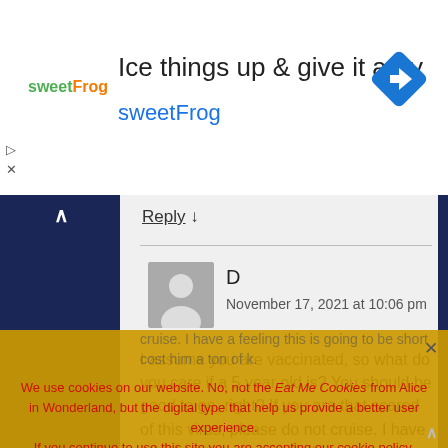[Figure (other): SweetFrog frozen yogurt advertisement banner with logo, headline 'Ice things up & give it a try', subtext 'sweetFrog', and a navigation/directions icon on the right]
Reply ↓
D
November 17, 2021 at 10:06 pm
I assume you are vaccinated, so what do you care if a 5 year old is? You should be good to go, right? If you are that scared of this virus, please do not cruise. I have a feeling this is going to be short cost him a ton of k.
We use cookies on our website. No, not the Eat Me Cookies from Alice in Wonderland, but the digital type that help us provide a better user experience.
If you continue to use this site you are accepting our cookie policy.
Accept   Read more